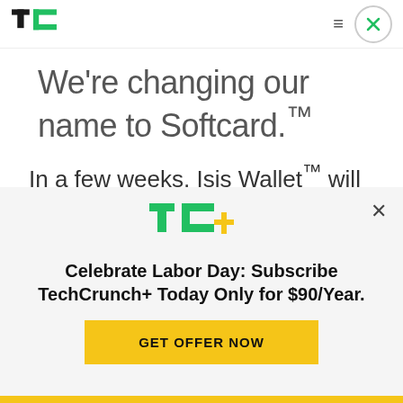[Figure (logo): TechCrunch TC logo in green and black]
We're changing our name to Softcard.™
In a few weeks, Isis Wallet™ will become Softcard. It's a different name for the
[Figure (logo): TC+ TechCrunch Plus logo in green]
Celebrate Labor Day: Subscribe TechCrunch+ Today Only for $90/Year.
GET OFFER NOW